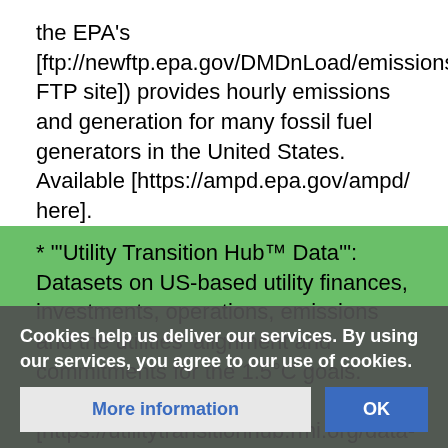the EPA's [ftp://newftp.epa.gov/DMDnLoad/emissions/ FTP site]) provides hourly emissions and generation for many fossil fuel generators in the United States. Available [https://ampd.epa.gov/ampd/ here].
* "'Utility Transition Hub™ Data'": Datasets on US-based utility finances, investments, operations, emissions and the utilities' alignment and commitments for the 1.5°C goals. Available [https://utilitytransitionhub.rmi.org/data-download/ here].
=== Europe ===
*"'Project Sunroof by Google'": Detailed estimates of rooftop solar potential based on sunlight and roof space. Available [https://sunroof.withgoogle.com/data-explorer/ here].
*"'EDP Open Data'": Data from a Portuguese utility company.
Cookies help us deliver our services. By using our services, you agree to our use of cookies.